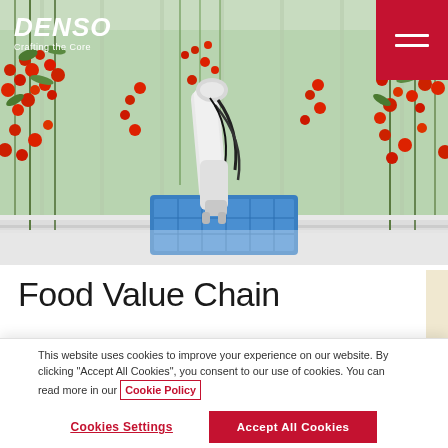[Figure (photo): Greenhouse interior with rows of cherry tomato plants hanging from above, with a robotic arm harvesting tomatoes into a blue plastic crate. The scene shows a high-tech agricultural facility with white structural supports and lush red tomatoes.]
DENSO Crafting the Core
Food Value Chain
This website uses cookies to improve your experience on our website. By clicking “Accept All Cookies”, you consent to our use of cookies. You can read more in our Cookie Policy
Cookies Settings
Accept All Cookies